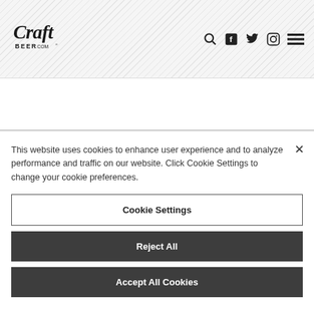[Figure (logo): CraftBeer.com logo in stylized script with 'BEER.COM' text below]
[Figure (infographic): Navigation icons: search magnifying glass, Facebook, Twitter, Instagram, and hamburger menu]
This website uses cookies to enhance user experience and to analyze performance and traffic on our website. Click Cookie Settings to change your cookie preferences.
Cookie Settings
Reject All
Accept All Cookies